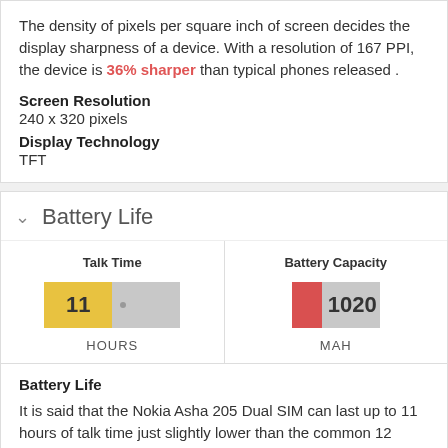The density of pixels per square inch of screen decides the display sharpness of a device. With a resolution of 167 PPI, the device is 36% sharper than typical phones released .
Screen Resolution
240 x 320 pixels
Display Technology
TFT
Battery Life
[Figure (bar-chart): Talk Time]
[Figure (bar-chart): Battery Capacity]
Battery Life
It is said that the Nokia Asha 205 Dual SIM can last up to 11 hours of talk time just slightly lower than the common 12 hours found in other devices. Talking about the power life of the device, which is